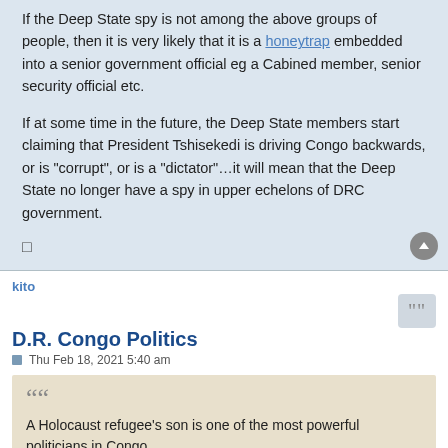If the Deep State spy is not among the above groups of people, then it is very likely that it is a honeytrap embedded into a senior government official eg a Cabined member, senior security official etc.
If at some time in the future, the Deep State members start claiming that President Tshisekedi is driving Congo backwards, or is "corrupt", or is a "dictator"…it will mean that the Deep State no longer have a spy in upper echelons of DRC government.
kito
D.R. Congo Politics
Thu Feb 18, 2021 5:40 am
A Holocaust refugee's son is one of the most powerful politicians in Congo.

Like many powerful politicians in Africa, Moise Katumbi goes by multiple titles. He is widely seen as the leader of the opposition of his